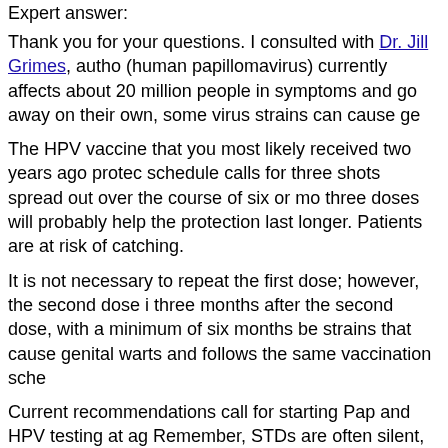Expert answer:
Thank you for your questions. I consulted with Dr. Jill Grimes, autho (human papillomavirus) currently affects about 20 million people in symptoms and go away on their own, some virus strains can cause ge
The HPV vaccine that you most likely received two years ago protec schedule calls for three shots spread out over the course of six or mo three doses will probably help the protection last longer. Patients are at risk of catching.
It is not necessary to repeat the first dose; however, the second dose i three months after the second dose, with a minimum of six months be strains that cause genital warts and follows the same vaccination sche
Current recommendations call for starting Pap and HPV testing at ag Remember, STDs are often silent, and infections such as chlamydia a
Be sure to consult with your own gynecologist or primary care physi
Post by: Dr. Jennifer Shu - CNNHealth Living Well expert
Filed under: Expert Q&A • Vaccinations
Next entry »Breast cancer: Diagnosis
« Previous entryNewborn jaundice may signal increased autism risk